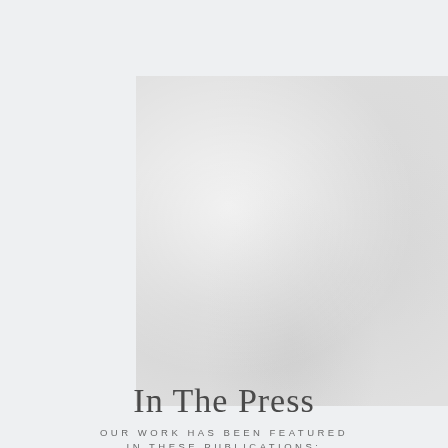[Figure (photo): A light gray textured photograph or background image with soft mottled tones, appearing to show a misty or soft-focus landscape or surface.]
In The Press
OUR WORK HAS BEEN FEATURED IN THESE PUBLICATIONS: